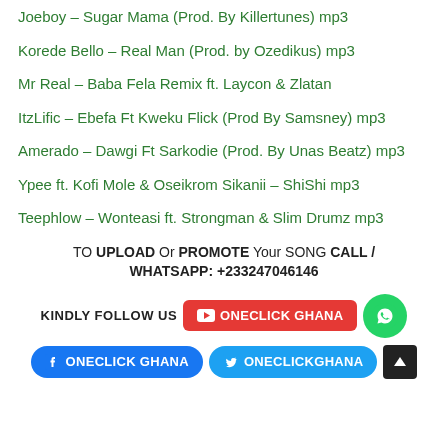Joeboy – Sugar Mama (Prod. By Killertunes) mp3
Korede Bello – Real Man (Prod. by Ozedikus) mp3
Mr Real – Baba Fela Remix ft. Laycon & Zlatan
ItzLific – Ebefa Ft Kweku Flick (Prod By Samsney) mp3
Amerado – Dawgi Ft Sarkodie (Prod. By Unas Beatz) mp3
Ypee ft. Kofi Mole & Oseikrom Sikanii – ShiShi mp3
Teephlow – Wonteasi ft. Strongman & Slim Drumz mp3
TO UPLOAD Or PROMOTE Your SONG CALL / WHATSAPP: +233247046146
KINDLY FOLLOW US  ONECLICK GHANA  [WhatsApp]  ONECLICK GHANA  ONECLICKGHANA